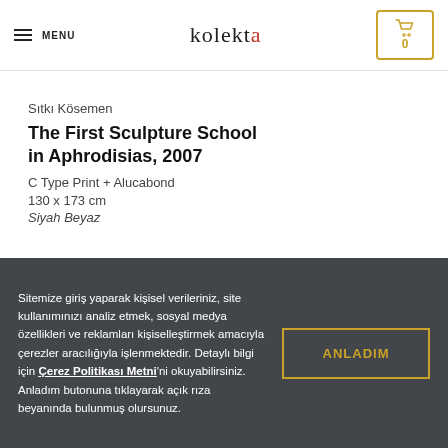MENU | kolekta | 0
Sıtkı Kösemen
The First Sculpture School in Aphrodisias, 2007
C Type Print + Alucabond
130 x 173 cm
Siyah Beyaz
Sitemize giriş yaparak kişisel verileriniz, site kullanımınızı analiz etmek, sosyal medya özellikleri ve reklamları kişiselleştirmek amacıyla çerezler aracılığıyla işlenmektedir. Detaylı bilgi için Çerez Politikası Metni'ni okuyabilirsiniz. Anladım butonuna tıklayarak açık rıza beyanında bulunmuş olursunuz.